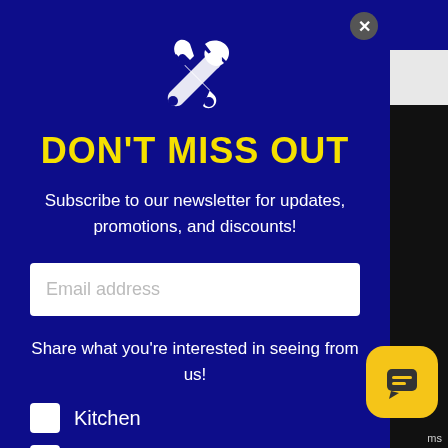[Figure (illustration): Crossed wrench and screwdriver tools icon in white on dark blue background]
DON'T MISS OUT
Subscribe to our newsletter for updates, promotions, and discounts!
Email address
Share what you're interested in seeing from us!
Kitchen
Bath